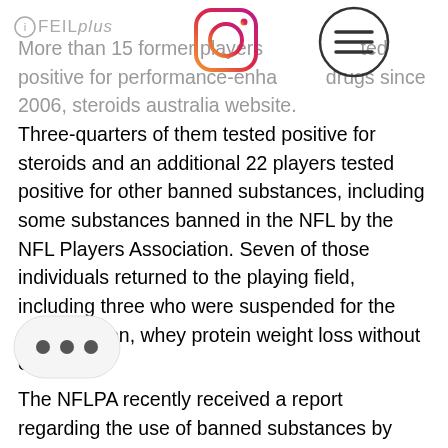FEIL plus
More than 15 former players tested positive for performance-enhancing drugs since 2006, steroids australia website. Three-quarters of them tested positive for steroids and an additional 22 players tested positive for other banned substances, including some substances banned in the NFL by the NFL Players Association. Seven of those individuals returned to the playing field, including three who were suspended for the 2013 season, whey protein weight loss without exercise.
The NFLPA recently received a report regarding the use of banned substances by NFL players in 2014. After conducting in-depth interviews and reviews with league employees, the report concludes that all should not be using any substances beyond what the league has approved. The report found that two thirds of the